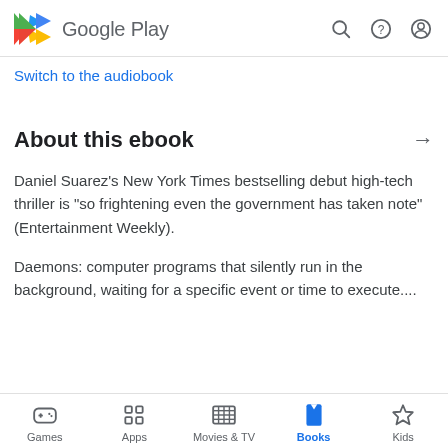Google Play
Switch to the audiobook
About this ebook
Daniel Suarez's New York Times bestselling debut high-tech thriller is "so frightening even the government has taken note" (Entertainment Weekly).
Daemons: computer programs that silently run in the background, waiting for a specific event or time to execute....
Games  Apps  Movies & TV  Books  Kids